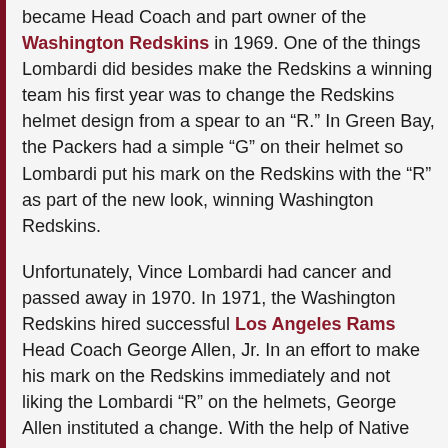became Head Coach and part owner of the Washington Redskins in 1969. One of the things Lombardi did besides make the Redskins a winning team his first year was to change the Redskins helmet design from a spear to an “R.” In Green Bay, the Packers had a simple “G” on their helmet so Lombardi put his mark on the Redskins with the “R” as part of the new look, winning Washington Redskins.
Unfortunately, Vince Lombardi had cancer and passed away in 1970. In 1971, the Washington Redskins hired successful Los Angeles Rams Head Coach George Allen, Jr. In an effort to make his mark on the Redskins immediately and not liking the Lombardi “R” on the helmets, George Allen instituted a change. With the help of Native American chiefs and their approval, the current